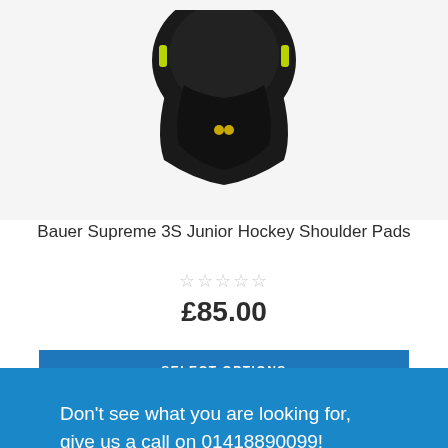[Figure (photo): Bottom portion of a black hockey shoulder pad bag/equipment product against a white background]
Bauer Supreme 3S Junior Hockey Shoulder Pads
☆☆☆☆☆
£85.00
SELECT OPTIONS
Th…rience. We'll as…if you wish.
Don't see what you are looking for, give us a call on 01418890099!
Cookie Settings   ACCEPT